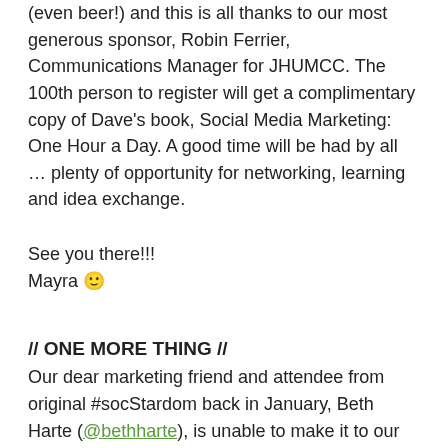(even beer!) and this is all thanks to our most generous sponsor, Robin Ferrier, Communications Manager for JHUMCC. The 100th person to register will get a complimentary copy of Dave's book, Social Media Marketing: One Hour a Day. A good time will be had by all … plenty of opportunity for networking, learning and idea exchange.
See you there!!!
Mayra 🙂
// ONE MORE THING //
Our dear marketing friend and attendee from original #socStardom back in January, Beth Harte (@bethharte), is unable to make it to our March 9 event. Can't blame her … last time she and her colleague Gloria Bell (@gloriabell)